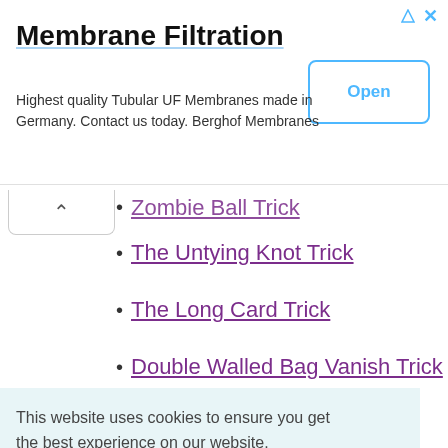[Figure (screenshot): Advertisement banner for Membrane Filtration by Berghof Membranes with Open button]
Zombie Ball Trick
The Untying Knot Trick
The Long Card Trick
Double Walled Bag Vanish Trick
Five Cards: Are You Sure?
This website uses cookies to ensure you get the best experience on our website. Cookie Policy
Got it!